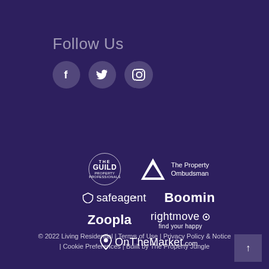Follow Us
[Figure (illustration): Three social media icons: Facebook, Twitter, Instagram — white icons on semi-transparent circular backgrounds]
[Figure (logo): The Guild Property Professionals logo — circular emblem]
[Figure (logo): The Property Ombudsman logo — triangle with text]
[Figure (logo): safeagent logo — shield icon with text]
[Figure (logo): Boomin logo — bold text]
[Figure (logo): Zoopla logo — wordmark]
[Figure (logo): Rightmove logo — wordmark with 'find your happy' tagline]
[Figure (logo): OnTheMarket.com logo — map pin icon with wordmark]
© 2022 Living Residential | Terms of Use | Privacy Policy & Notice | Cookie Preferences | Built by The Property Jungle